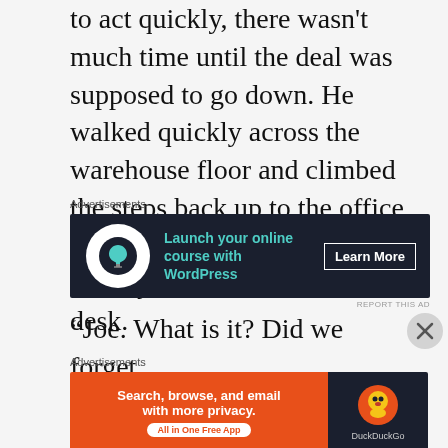to act quickly, there wasn't much time until the deal was supposed to go down. He walked quickly across the warehouse floor and climbed the steps back up to the office and through the door where Johnny was hunched over the desk.
Advertisements
[Figure (screenshot): Dark banner advertisement: tree icon in white circle on left, teal text 'Launch your online course with WordPress', white 'Learn More' button on right]
REPORT THIS AD
“Joe. What is it? Did we forget
Advertisements
[Figure (screenshot): Two-panel ad: orange left panel 'Search, browse, and email with more privacy. All in One Free App', dark right panel with DuckDuckGo logo]
REPORT THIS AD